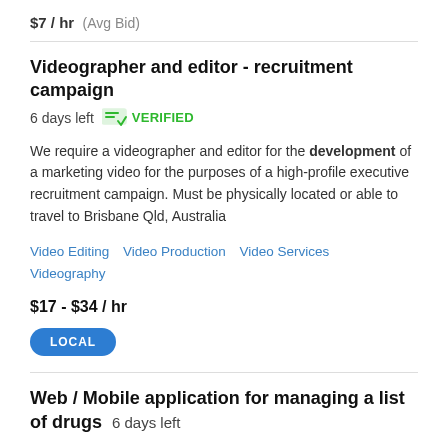$7 / hr  (Avg Bid)
Videographer and editor - recruitment campaign
6 days left   VERIFIED
We require a videographer and editor for the development of a marketing video for the purposes of a high-profile executive recruitment campaign. Must be physically located or able to travel to Brisbane Qld, Australia
Video Editing   Video Production   Video Services   Videography
$17 - $34 / hr
LOCAL
Web / Mobile application for managing a list of drugs  6 days left